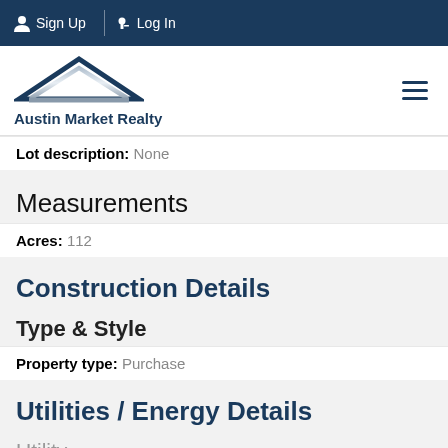Sign Up  Log In
[Figure (logo): Austin Market Realty logo with house roof graphic and text]
Lot description: None
Measurements
Acres: 112
Construction Details
Type & Style
Property type: Purchase
Utilities / Energy Details
Utility